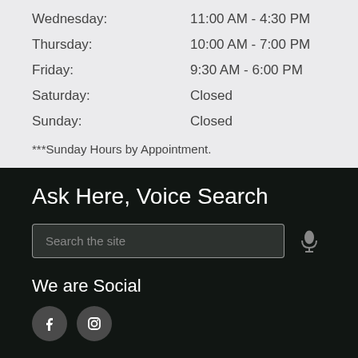Wednesday: 11:00 AM - 4:30 PM
Thursday: 10:00 AM - 7:00 PM
Friday: 9:30 AM - 6:00 PM
Saturday: Closed
Sunday: Closed
***Sunday Hours by Appointment.
Ask Here, Voice Search
Search the site
We are Social